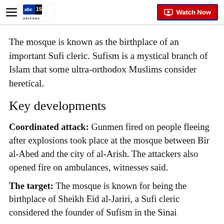abc15 Arizona — Watch Now
The mosque is known as the birthplace of an important Sufi cleric. Sufism is a mystical branch of Islam that some ultra-orthodox Muslims consider heretical.
Key developments
Coordinated attack: Gunmen fired on people fleeing after explosions took place at the mosque between Bir al-Abed and the city of al-Arish. The attackers also opened fire on ambulances, witnesses said.
The target: The mosque is known for being the birthplace of Sheikh Eid al-Jariri, a Sufi cleric considered the founder of Sufism in the Sinai